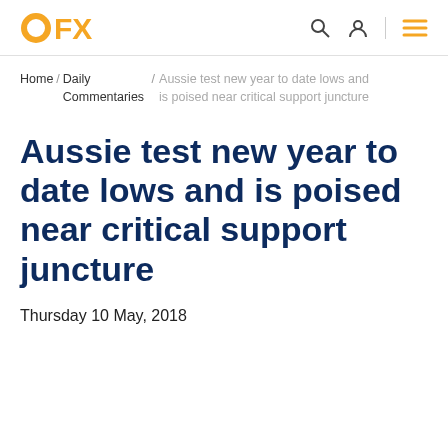OFX
Home / Daily Commentaries / Aussie test new year to date lows and is poised near critical support juncture
Aussie test new year to date lows and is poised near critical support juncture
Thursday 10 May, 2018